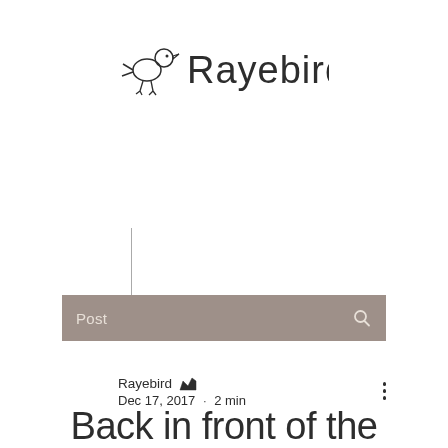[Figure (logo): Rayebird logo with a simple line-art bird icon followed by the text 'Rayebird' in a thin sans-serif font]
Post
Rayebird 👏 Dec 17, 2017 · 2 min
Back in front of the